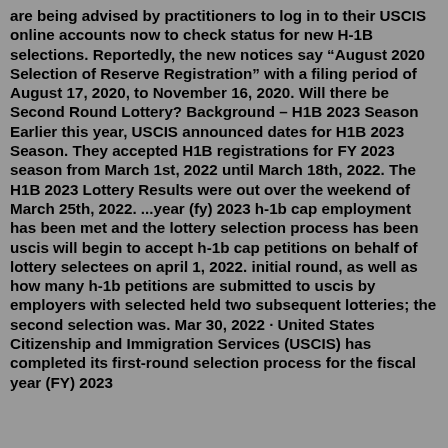are being advised by practitioners to log in to their USCIS online accounts now to check status for new H-1B selections. Reportedly, the new notices say “August 2020 Selection of Reserve Registration” with a filing period of August 17, 2020, to November 16, 2020. Will there be Second Round Lottery? Background – H1B 2023 Season Earlier this year, USCIS announced dates for H1B 2023 Season. They accepted H1B registrations for FY 2023 season from March 1st, 2022 until March 18th, 2022. The H1B 2023 Lottery Results were out over the weekend of March 25th, 2022. ...year (fy) 2023 h-1b cap employment has been met and the lottery selection process has been uscis will begin to accept h-1b cap petitions on behalf of lottery selectees on april 1, 2022. initial round, as well as how many h-1b petitions are submitted to uscis by employers with selected held two subsequent lotteries; the second selection was. Mar 30, 2022 · United States Citizenship and Immigration Services (USCIS) has completed its first-round selection process for the fiscal year (FY) 2023